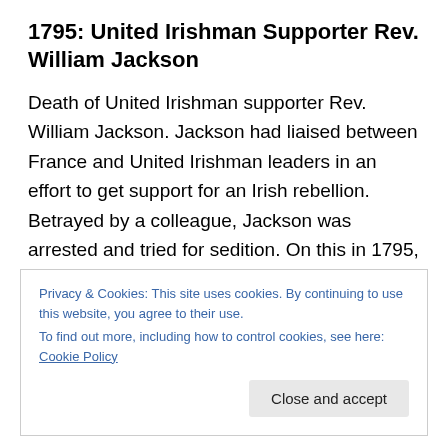1795: United Irishman Supporter Rev. William Jackson
Death of United Irishman supporter Rev. William Jackson. Jackson had liaised between France and United Irishman leaders in an effort to get support for an Irish rebellion. Betrayed by a colleague, Jackson was arrested and tried for sedition. On this in 1795, just prior to an inevitable sentence of treason, he ingested poison and dying actually in the courtroom. His death, prior to sentence meant that his possessions could not be seized by the
Privacy & Cookies: This site uses cookies. By continuing to use this website, you agree to their use.
To find out more, including how to control cookies, see here: Cookie Policy
Close and accept